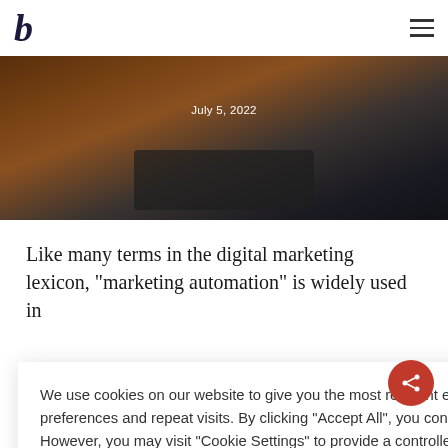b
[Figure (photo): Hero image showing a laptop keyboard with a hand, dark warm-toned background. Date overlay reads: July 5, 2022]
Like many terms in the digital marketing lexicon, "marketing automation" is widely used in truly ally never keting easy and nail boosts
We use cookies on our website to give you the most relevant experience by remembering your preferences and repeat visits. By clicking "Accept All", you consent to the use of ALL the cookies. However, you may visit "Cookie Settings" to provide a controlled consent.
Cookie Settings   Accept All